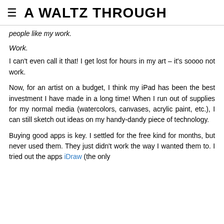≡ A WALTZ THROUGH
people like my work.
Work.
I can't even call it that!  I get lost for hours in my art – it's soooo not work.
Now, for an artist on a budget, I think my iPad has been the best investment I have made in a long time!  When I run out of supplies for my normal media (watercolors, canvases, acrylic paint, etc.), I can still sketch out ideas on my handy-dandy piece of technology.
Buying good apps is key.  I settled for the free kind for months, but never used them.  They just didn't work the way I wanted them to.  I tried out the apps iDraw (the only